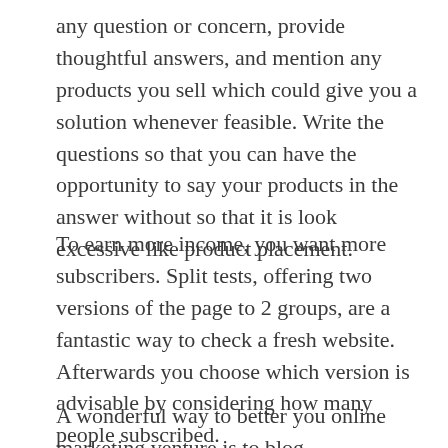any question or concern, provide thoughtful answers, and mention any products you sell which could give you a solution whenever feasible. Write the questions so that you can have the opportunity to say your products in the answer without so that it is look excessive like product placement.
To earn more income, you want more subscribers. Split tests, offering two versions of the page to 2 groups, are a fantastic way to check a fresh website. Afterwards you choose which version is advisable by considering how many people subscribed.
A wonderful way to better you online marketing venture is to blog.